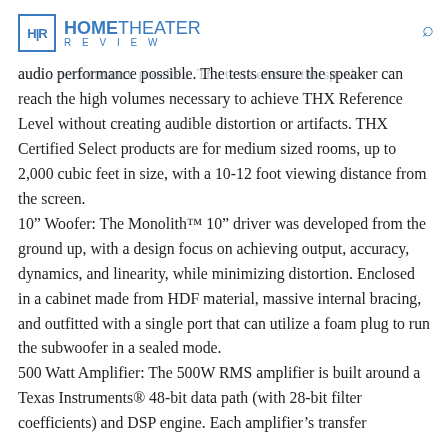HOME THEATER REVIEW
THX Certified Select: THX® engineers completed rigorous performance tests to ensure the highest audio performance possible. The tests ensure the speaker can reach the high volumes necessary to achieve THX Reference Level without creating audible distortion or artifacts. THX Certified Select products are for medium sized rooms, up to 2,000 cubic feet in size, with a 10-12 foot viewing distance from the screen.
10" Woofer: The Monolith™ 10" driver was developed from the ground up, with a design focus on achieving output, accuracy, dynamics, and linearity, while minimizing distortion. Enclosed in a cabinet made from HDF material, massive internal bracing, and outfitted with a single port that can utilize a foam plug to run the subwoofer in a sealed mode.
500 Watt Amplifier: The 500W RMS amplifier is built around a Texas Instruments® 48-bit data path (with 28-bit filter coefficients) and DSP engine. Each amplifier's transfer